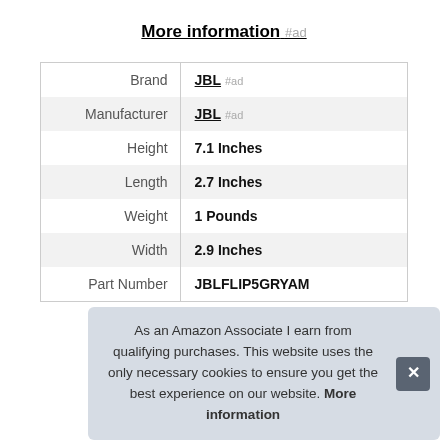More information #ad
|  |  |
| --- | --- |
| Brand | JBL #ad |
| Manufacturer | JBL #ad |
| Height | 7.1 Inches |
| Length | 2.7 Inches |
| Weight | 1 Pounds |
| Width | 2.9 Inches |
| Part Number | JBLFLIP5GRYAM |
As an Amazon Associate I earn from qualifying purchases. This website uses the only necessary cookies to ensure you get the best experience on our website. More information